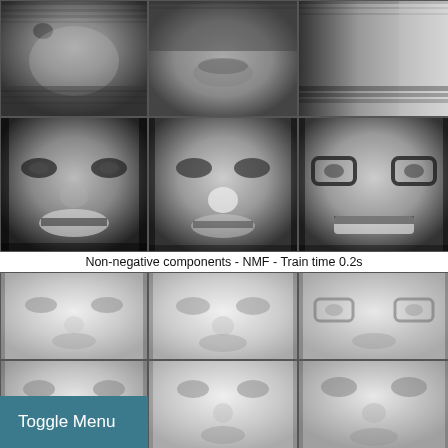[Figure (illustration): 3x2 grid of grayscale face component images (ICA or similar decomposition). Top row shows partial faces/textures, bottom row shows faces with eyes, nose, and mouth regions clearly visible. Dark edges, varied contrast.]
Non-negative components - NMF - Train time 0.2s
[Figure (illustration): 3x2 grid of grayscale NMF face components. These are whiter/lighter than the top grid, showing more holistic face-like components with smoother, brighter appearance.]
Toggle Menu